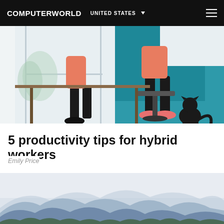COMPUTERWORLD  UNITED STATES
[Figure (illustration): Illustration of person sitting at a desk in an office chair with black pants and coral/pink top, bare feet in pink slippers on right side, a black cat silhouette on the right, split background of teal office and light window]
5 productivity tips for hybrid workers
Emily Price
[Figure (illustration): Misty mountain landscape with blue-grey layered mountain silhouettes and foggy sky, forest treeline at bottom]